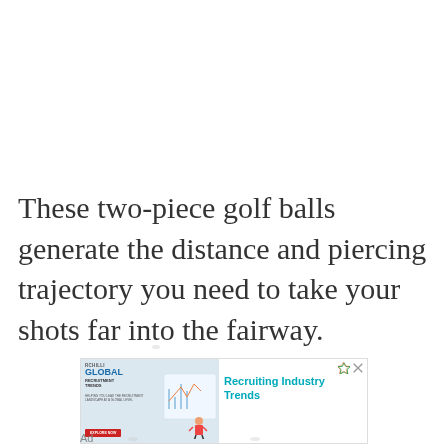These two-piece golf balls generate the distance and piercing trajectory you need to take your shots far into the fairway.
[Figure (other): Advertisement banner for RChilli Global Recruitment Trends with an illustration of a person with charts and analytics imagery. Headline reads 'Recruiting Industry Trends' in teal/cyan bold text.]
Ad